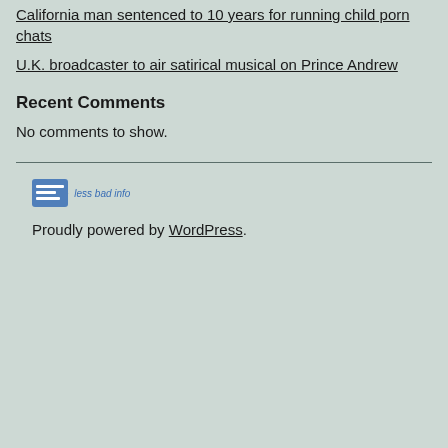California man sentenced to 10 years for running child porn chats
U.K. broadcaster to air satirical musical on Prince Andrew
Recent Comments
No comments to show.
[Figure (logo): Site logo with icon and 'less bad info' text]
Proudly powered by WordPress.